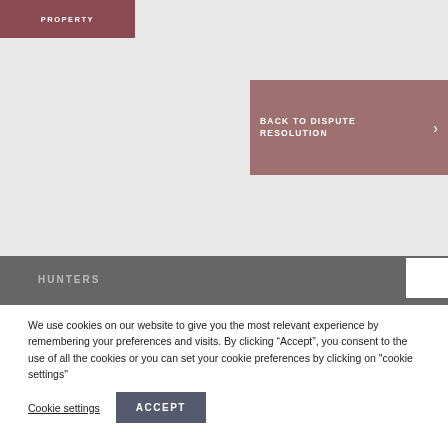[Figure (screenshot): Navigation button labeled PROPERTY on dark rose/maroon background, top-left of page]
[Figure (screenshot): Navigation button labeled BACK TO DISPUTE RESOLUTION with right arrow, on muted rose background, right side of page]
[Figure (screenshot): Dark grey footer bar with HUNTERS text and white box element]
We use cookies on our website to give you the most relevant experience by remembering your preferences and visits. By clicking “Accept”, you consent to the use of all the cookies or you can set your cookie preferences by clicking on "cookie settings"
Cookie settings
ACCEPT